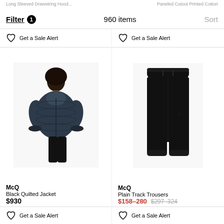Long Sleeved Drawstring Hood... | Paneled Cutout Printed Cotton
Filter 1 | 960 items | Sort
Get a Sale Alert (left column)
Get a Sale Alert (right column)
[Figure (photo): Person wearing a dark navy quilted puffer jacket, McQ brand]
McQ
Black Quilted Jacket
$930
Get a Sale Alert (left column bottom)
[Figure (photo): Black plain track trousers, McQ brand, shown without a model on white background]
McQ
Plain Track Trousers
$158–280 $297–324
Get a Sale Alert (right column bottom)